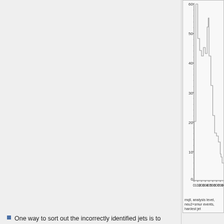[Figure (continuous-plot): Histogram of mqll at analysis level for neu2+smur events, hardest jet selection. X-axis from 0 to 800+, Y-axis from 0 to 60. The histogram shows a peak around 50-60 counts near low mqll values (~50-100), then fluctuates around 40-45 through 200-300, drops around 400 with some spikes to ~30, then tails off toward 800.]
mqll, analysis level, neu2+smur events, hardest jet
One way to sort out the incorrectly identified jets is to compute mqll with random jets and compare it with the hardest jet case. The 'diff' plot illustrates that this is only viable with more statistics as the fluctuations are of the order of the signal. Note that the 'random jet' events haven't been normalized here. Ideally one would normalize them so that the tail (>500 GeV here) matches the tail in the 'hardest jet' case. That way the tail would disappear in